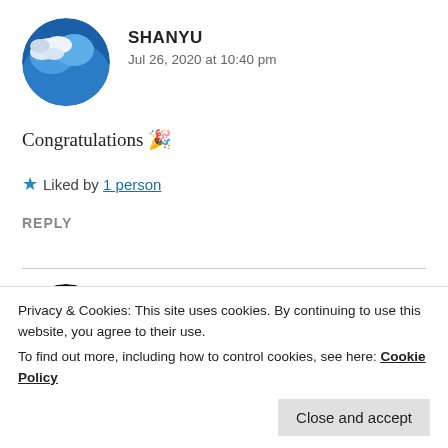[Figure (photo): Circular avatar image showing sky with clouds and blue background]
SHANYU
Jul 26, 2020 at 10:40 pm
Congratulations 🎉
★ Liked by 1 person
REPLY
[Figure (photo): Circular avatar image showing dark background with bokeh lights]
ISHITA GUPTA
Jul 27, 2020 at 10:17 pm
Privacy & Cookies: This site uses cookies. By continuing to use this website, you agree to their use.
To find out more, including how to control cookies, see here: Cookie Policy
Close and accept
★ Liked by 1 person